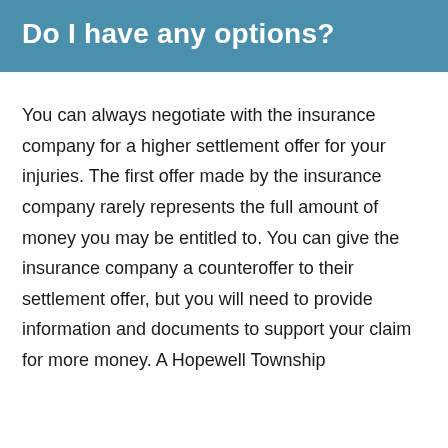Do I have any options?
You can always negotiate with the insurance company for a higher settlement offer for your injuries. The first offer made by the insurance company rarely represents the full amount of money you may be entitled to. You can give the insurance company a counteroffer to their settlement offer, but you will need to provide information and documents to support your claim for more money. A Hopewell Township…